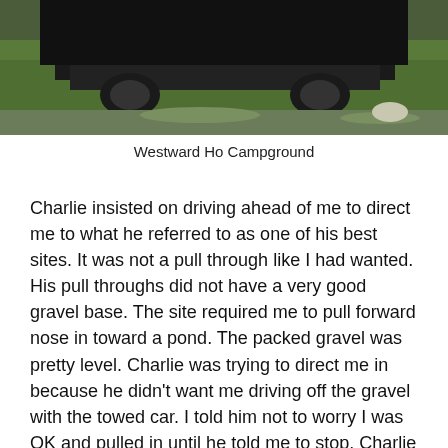[Figure (photo): Partial view of a vehicle parked on grass at a campground, showing the underside/rear portion of the vehicle against a grassy background.]
Westward Ho Campground
Charlie insisted on driving ahead of me to direct me to what he referred to as one of his best sites. It was not a pull through like I had wanted. His pull throughs did not have a very good gravel base. The site required me to pull forward nose in toward a pond. The packed gravel was pretty level. Charlie was trying to direct me in because he didn't want me driving off the gravel with the towed car. I told him not to worry I was OK and pulled in until he told me to stop. Charlie was surprised at how tight the car had followed in behind the RV. I looked over the position and told